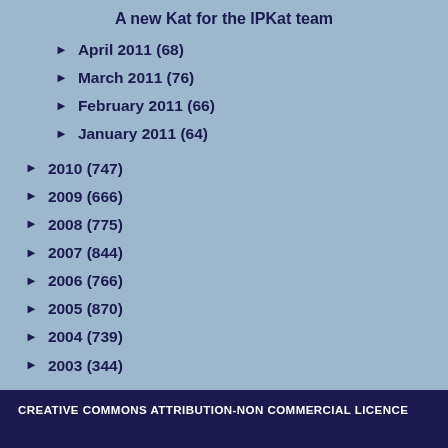A new Kat for the IPKat team
April 2011 (68)
March 2011 (76)
February 2011 (66)
January 2011 (64)
2010 (747)
2009 (666)
2008 (775)
2007 (844)
2006 (766)
2005 (870)
2004 (739)
2003 (344)
CREATIVE COMMONS ATTRIBUTION-NON COMMERCIAL LICENCE